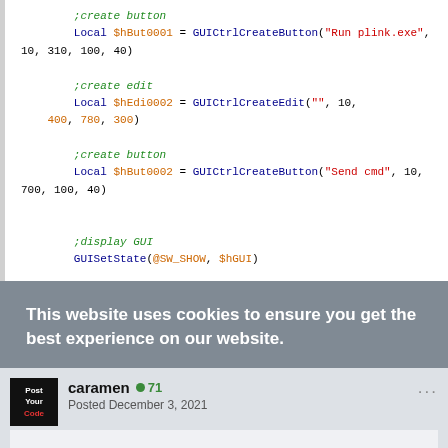[Figure (screenshot): Code block showing AutoIt GUI creation script with colored syntax highlighting. Comments in green italic, keywords in blue, strings in orange/red.]
[Figure (screenshot): Cookie consent overlay banner with white text on dark semi-transparent background reading 'This website uses cookies to ensure you get the best experience on our website.']
[Figure (screenshot): Forum post by user 'caramen' with reputation 71, posted December 3, 2021, with text and code snippet.]
You could transform this into a better loop. To be sure to intercept everything.
[Figure (screenshot): Code snippet showing: if $iPID <> 0 Then]